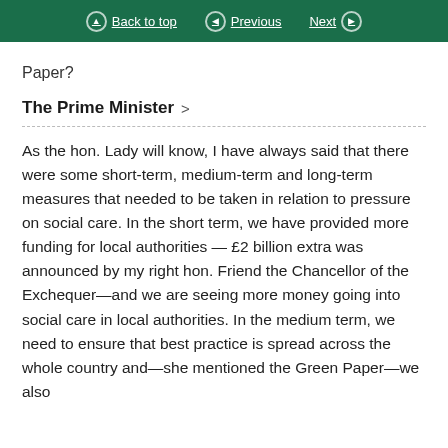Back to top  Previous  Next
Paper?
The Prime Minister
As the hon. Lady will know, I have always said that there were some short-term, medium-term and long-term measures that needed to be taken in relation to pressure on social care. In the short term, we have provided more funding for local authorities — £2 billion extra was announced by my right hon. Friend the Chancellor of the Exchequer—and we are seeing more money going into social care in local authorities. In the medium term, we need to ensure that best practice is spread across the whole country and—she mentioned the Green Paper—we also